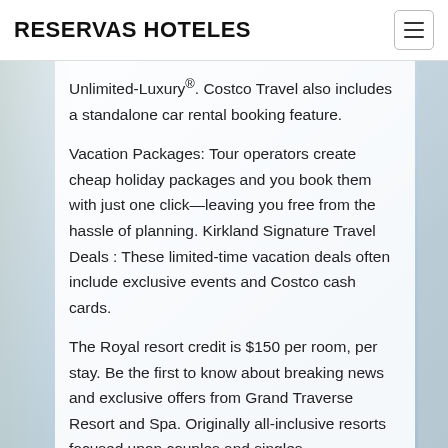RESERVAS HOTELES
Unlimited-Luxury®. Costco Travel also includes a standalone car rental booking feature.
Vacation Packages: Tour operators create cheap holiday packages and you book them with just one click—leaving you free from the hassle of planning. Kirkland Signature Travel Deals : These limited-time vacation deals often include exclusive events and Costco cash cards.
The Royal resort credit is $150 per room, per stay. Be the first to know about breaking news and exclusive offers from Grand Traverse Resort and Spa. Originally all-inclusive resorts focused upon couples and singles.